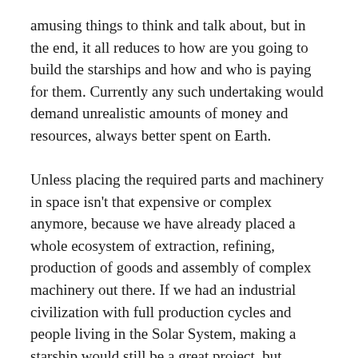amusing things to think and talk about, but in the end, it all reduces to how are you going to build the starships and how and who is paying for them. Currently any such undertaking would demand unrealistic amounts of money and resources, always better spent on Earth.
Unless placing the required parts and machinery in space isn't that expensive or complex anymore, because we have already placed a whole ecosystem of extraction, refining, production of goods and assembly of complex machinery out there. If we had an industrial civilization with full production cycles and people living in the Solar System, making a starship would still be a great project, but certainly not an impossible one.
And the only way to make such a thing possible, passes through developing a solid economy in space with small steps now. With things like launchers and mining space